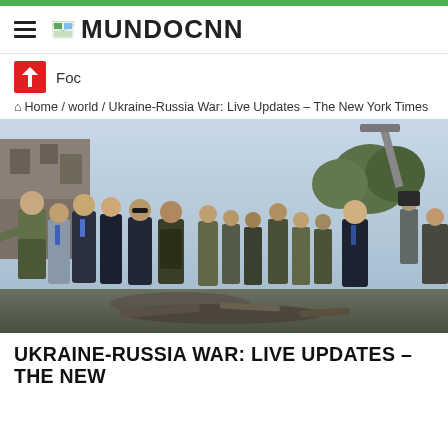MUNDOCNN
Foc
🏠 Home / world / Ukraine-Russia War: Live Updates – The New York Times
[Figure (photo): Group of world leaders and officials including Emmanuel Macron and Olaf Scholz visiting a war-damaged site in Ukraine, surrounded by armed soldiers and media.]
UKRAINE-RUSSIA WAR: LIVE UPDATES – THE NEW